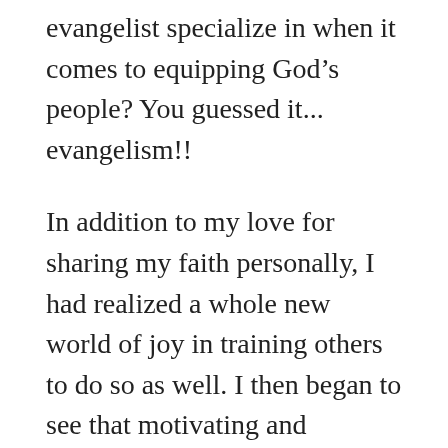evangelist specialize in when it comes to equipping God's people? You guessed it... evangelism!!
In addition to my love for sharing my faith personally, I had realized a whole new world of joy in training others to do so as well. I then began to see that motivating and mobilizing people to share their faith was a common thread of constant fulfillment that I had experienced all through 13 years as a youth pastor, and 4 years as a lead pastor. I love people and I loved shepherding them, but the